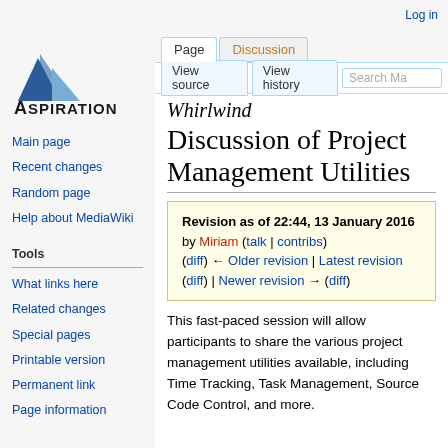Log in
[Figure (logo): Aspiration logo with blue triangle and text 'ASPIRATION']
Main page
Recent changes
Random page
Help about MediaWiki
Tools
What links here
Related changes
Special pages
Printable version
Permanent link
Page information
Whirlwind Discussion of Project Management Utilities
Revision as of 22:44, 13 January 2016 by Miriam (talk | contribs) (diff) ← Older revision | Latest revision (diff) | Newer revision → (diff)
This fast-paced session will allow participants to share the various project management utilities available, including Time Tracking, Task Management, Source Code Control, and more.